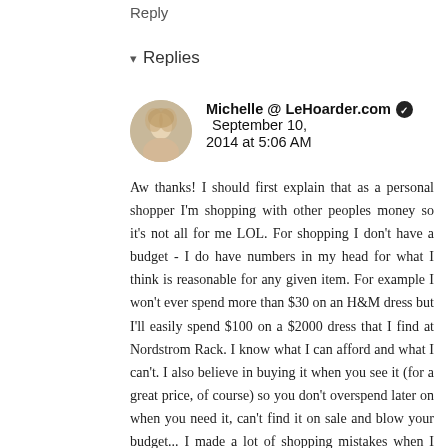Reply
▾ Replies
Michelle @ LeHoarder.com ✔ September 10, 2014 at 5:06 AM
Aw thanks! I should first explain that as a personal shopper I'm shopping with other peoples money so it's not all for me LOL. For shopping I don't have a budget - I do have numbers in my head for what I think is reasonable for any given item. For example I won't ever spend more than $30 on an H&M dress but I'll easily spend $100 on a $2000 dress that I find at Nordstrom Rack. I know what I can afford and what I can't. I also believe in buying it when you see it (for a great price, of course) so you don't overspend later on when you need it, can't find it on sale and blow your budget... I made a lot of shopping mistakes when I was younger but over the years I've honed my shopping skills to get to where I am today. But I am a little bit of a hoarder and I'm probably not the best role model LOL.